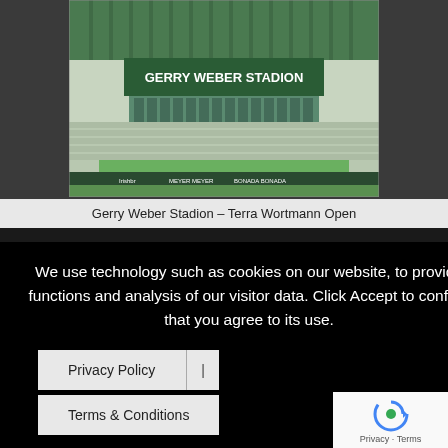[Figure (photo): Interior view of Gerry Weber Stadion tennis arena with green roof structure, white seating, and advertising banners along the court perimeter]
Gerry Weber Stadion – Terra Wortmann Open
We use technology such as cookies on our website, to provide functions and analysis of our visitor data. Click Accept to confirm that you agree to its use.
Privacy Policy | Terms & Conditions
ACCEPT
[Figure (screenshot): Partial view of a tennis event crowd photo on the right side]
many
n open
N 2022
[Figure (logo): Google reCAPTCHA badge with spinning arrow logo and Privacy - Terms text]